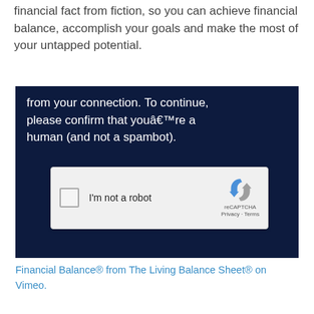See how The Living Balance Sheet® can help you tell financial fact from fiction, so you can achieve financial balance, accomplish your goals and make the most of your untapped potential.
[Figure (screenshot): Screenshot of a dark navy blue overlay showing a CAPTCHA dialog. Text reads: 'from your connection. To continue, please confirm that you're a human (and not a spambot).' Below is a reCAPTCHA widget with a checkbox labeled 'I'm not a robot' and the reCAPTCHA logo with Privacy and Terms links.]
Financial Balance® from The Living Balance Sheet® on Vimeo.